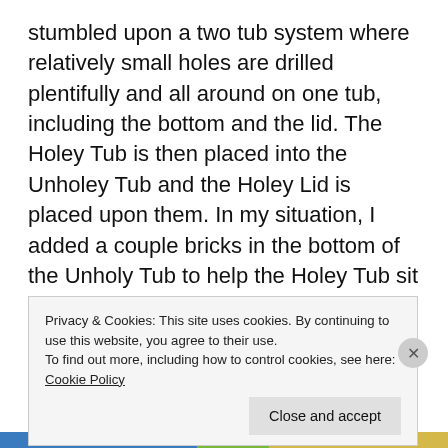stumbled upon a two tub system where relatively small holes are drilled plentifully and all around on one tub, including the bottom and the lid. The Holey Tub is then placed into the Unholey Tub and the Holey Lid is placed upon them. In my situation, I added a couple bricks in the bottom of the Unholy Tub to help the Holey Tub sit a little higher in it and create more opportunity for airflow and oxygen.
But the days grew dark and Compostville became a ghost town where not much was happening. Gnats
Privacy & Cookies: This site uses cookies. By continuing to use this website, you agree to their use.
To find out more, including how to control cookies, see here: Cookie Policy
Close and accept